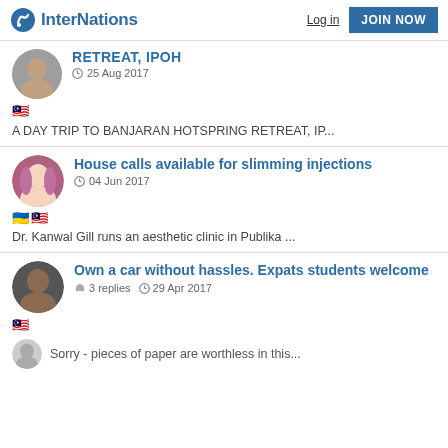InterNations  Log in  JOIN NOW
RETREAT, IPOH
25 Aug 2017
A DAY TRIP TO BANJARAN HOTSPRING RETREAT, IP...
House calls available for slimming injections
04 Jun 2017
Dr. Kanwal Gill runs an aesthetic clinic in Publika ...
Own a car without hassles. Expats students welcome
3 replies   29 Apr 2017
Sorry - pieces of paper are worthless in this...